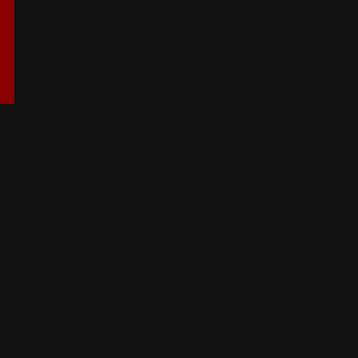Frank Cannon's 'Hustler VI" - AA/FD
Don Garlits "Swamp Rat 3" - AA/FD
"Groundshaker, Jr" - AA/FA
Bivens & Fisher "Checkmate" - AA/FD
Flamin' Frank Pedregon - AA/FCoupe
Mustache Gang - AA/FD
Billy Lynch - AA/FD
K&G Speed Shop - AA/FD